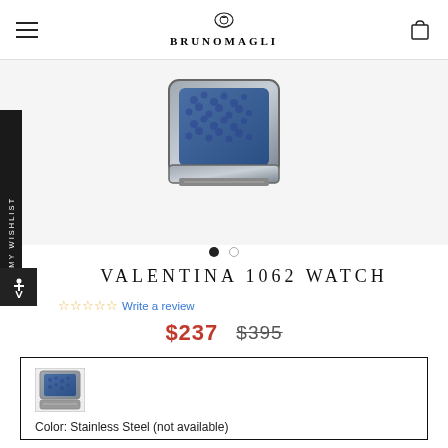BRUNOMAGLI
[Figure (photo): Close-up of a luxury watch with blue snakeskin/patterned face and stainless steel case, cropped showing top portion]
VALENTINA 1062 WATCH
☆☆☆☆☆ Write a review
$237  $395
[Figure (photo): Small thumbnail image of the Valentina 1062 watch showing blue face and stainless steel band]
Color: Stainless Steel (not available)